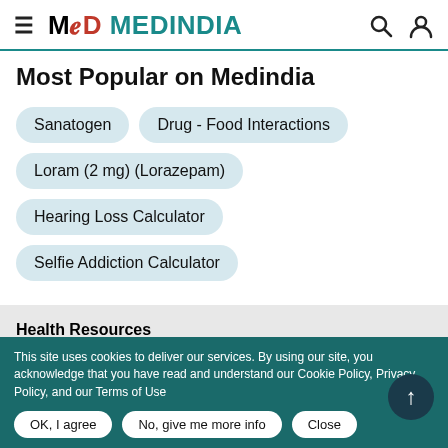MeD MEDINDIA
Most Popular on Medindia
Sanatogen
Drug - Food Interactions
Loram (2 mg) (Lorazepam)
Hearing Loss Calculator
Selfie Addiction Calculator
Health Resources
This site uses cookies to deliver our services. By using our site, you acknowledge that you have read and understand our Cookie Policy, Privacy Policy, and our Terms of Use
OK, I agree
No, give me more info
Close